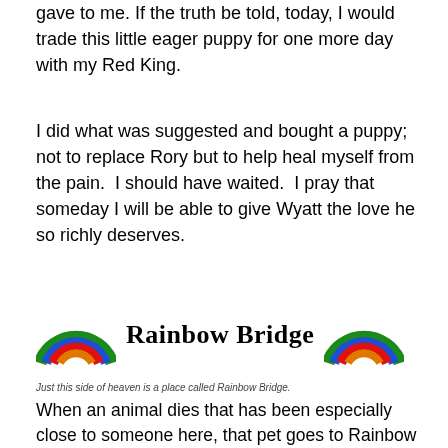gave to me. If the truth be told, today, I would trade this little eager puppy for one more day with my Red King.
I did what was suggested and bought a puppy; not to replace Rory but to help heal myself from the pain.  I should have waited.  I pray that someday I will be able to give Wyatt the love he so richly deserves.
[Figure (illustration): Two rainbow emoji-style rainbow graphics flanking the bold text 'Rainbow Bridge']
Just this side of heaven is a place called Rainbow Bridge.
When an animal dies that has been especially close to someone here, that pet goes to Rainbow Bridge. There are meadows and hills for all of our special friends so they can run and play together. There is plenty of food, water and sunshine, and our